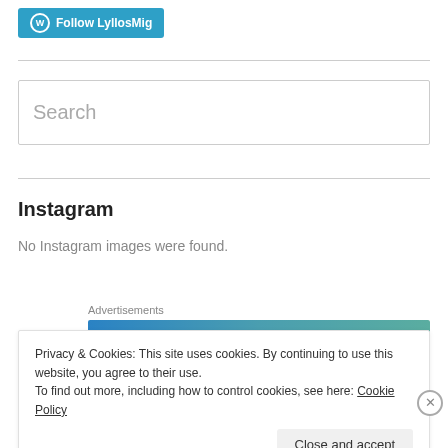[Figure (logo): WordPress Follow button with W icon and text 'Follow LyllosMig' on teal/blue background]
Search
Instagram
No Instagram images were found.
Advertisements
[Figure (other): Advertisement banner with blue-to-teal gradient]
Privacy & Cookies: This site uses cookies. By continuing to use this website, you agree to their use.
To find out more, including how to control cookies, see here: Cookie Policy
Close and accept